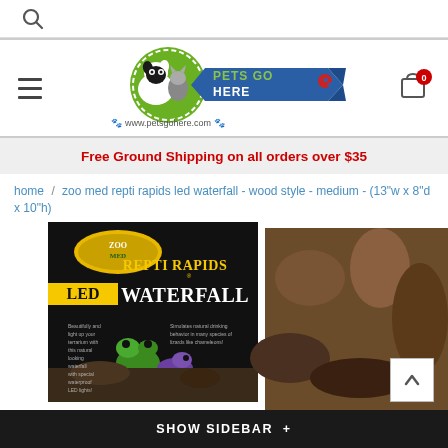🔍
[Figure (logo): Pets Go Here logo with dog and cat illustration, green circle, blue ribbon, www.petsgohere.com]
[Figure (other): Shopping cart icon with red badge showing 0]
Free Ground Shipping on all orders over $35
home / zoo med repti rapids led waterfall - wood style - medium - (13"w x 8"d x 10"h)
[Figure (photo): Zoo Med Repti Rapids LED Waterfall product box showing a waterfall with LED lighting, a tree frog and chameleon, wood style terrarium waterfall]
SHOW SIDEBAR +